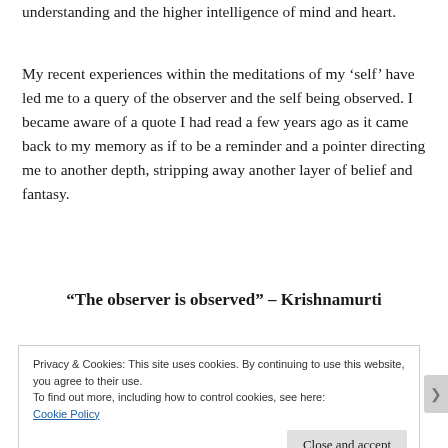understanding and the higher intelligence of mind and heart.
My recent experiences within the meditations of my ‘self’ have led me to a query of the observer and the self being observed. I became aware of a quote I had read a few years ago as it came back to my memory as if to be a reminder and a pointer directing me to another depth, stripping away another layer of belief and fantasy.
“The observer is observed” – Krishnamurti
Privacy & Cookies: This site uses cookies. By continuing to use this website, you agree to their use.
To find out more, including how to control cookies, see here:
Cookie Policy
Close and accept